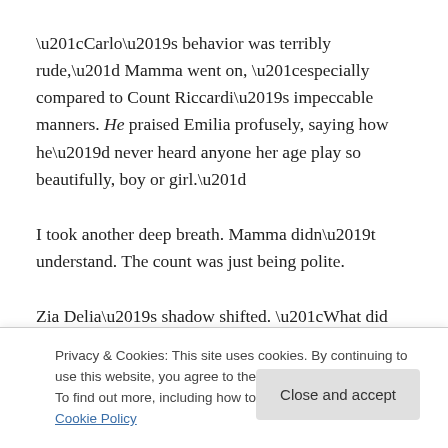“Carlo’s behavior was terribly rude,” Mamma went on, “especially compared to Count Riccardi’s impeccable manners. He praised Emilia profusely, saying how he’d never heard anyone her age play so beautifully, boy or girl.”
I took another deep breath. Mamma didn’t understand. The count was just being polite.
Zia Delia’s shadow shifted. “What did you play, Emilia?”
Privacy & Cookies: This site uses cookies. By continuing to use this website, you agree to their use.
To find out more, including how to control cookies, see here: Cookie Policy